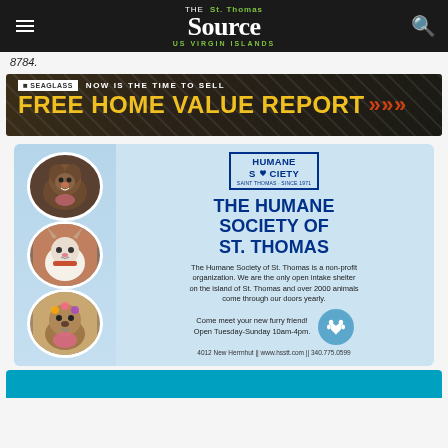THE St. Thomas Source US VIRGIN ISLANDS
8784.
[Figure (advertisement): Seaglass real estate advertisement: NOW IS THE TIME TO SELL FREE HOME VALUE REPORT]
[Figure (advertisement): Humane Society of St. Thomas advertisement with animal photos, logo, and contact info: 4012 New Herrnhut || www.hsstt.com || 340.775.0599]
[Figure (other): Bottom blue strip, partial advertisement]